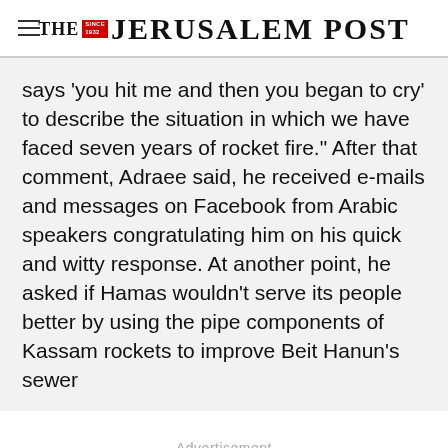THE JERUSALEM POST
says 'you hit me and then you began to cry' to describe the situation in which we have faced seven years of rocket fire." After that comment, Adraee said, he received e-mails and messages on Facebook from Arabic speakers congratulating him on his quick and witty response. At another point, he asked if Hamas wouldn't serve its people better by using the pipe components of Kassam rockets to improve Beit Hanun's sewer
Advertisement